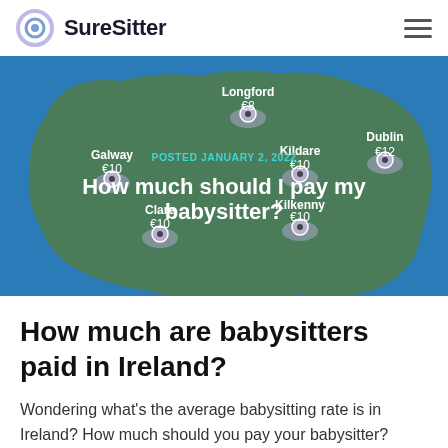SureSitter
[Figure (map): Map of Ireland showing babysitting rates by county: Longford €8, Dublin €12, Galway €10, Kildare €10, Clare €10, Kilkenny €10. Posted January 2, 2022. Overlay text: How much should I pay my babysitter?]
How much are babysitters paid in Ireland?
Wondering what's the average babysitting rate is in Ireland? How much should you pay your babysitter? There